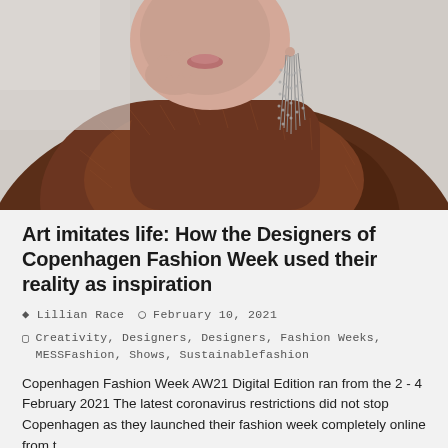[Figure (photo): Close-up of a woman in a brown fuzzy coat with long dangling chain earrings, hand near face, light background]
Art imitates life: How the Designers of Copenhagen Fashion Week used their reality as inspiration
Lillian Race   February 10, 2021
Creativity, Designers, Designers, Fashion Weeks, MESSFashion, Shows, Sustainablefashion
Copenhagen Fashion Week AW21 Digital Edition ran from the 2 - 4 February 2021 The latest coronavirus restrictions did not stop Copenhagen as they launched their fashion week completely online from t...